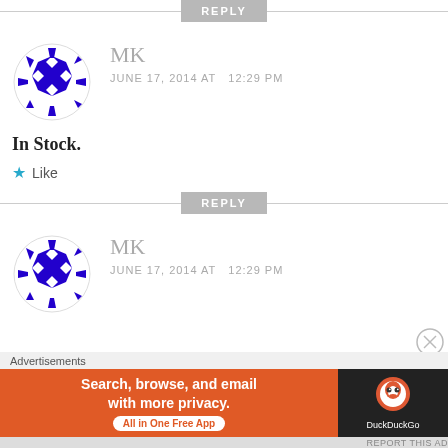REPLY
[Figure (illustration): Blue and white geometric circular avatar icon for user MK]
MK
JUNE 17, 2014 AT  12:29 PM
In Stock.
★ Like
REPLY
[Figure (illustration): Blue and white geometric circular avatar icon for user MK (second comment)]
MK
JUNE 17, 2014 AT  12:29 PM
Advertisements
[Figure (screenshot): DuckDuckGo advertisement banner reading 'Search, browse, and email with more privacy. All in One Free App' with DuckDuckGo logo on dark right panel]